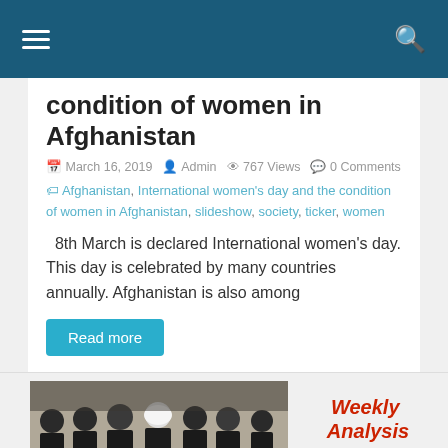☰  🔍
condition of women in Afghanistan
March 16, 2019  Admin  767 Views  0 Comments
Afghanistan, International women's day and the condition of women in Afghanistan, slideshow, society, ticker, women
8th March is declared International women's day. This day is celebrated by many countries annually. Afghanistan is also among
Read more
[Figure (photo): A group of men in traditional Afghan dress seated at a long conference table with water bottles]
Weekly Analysis
Issue Number: 291